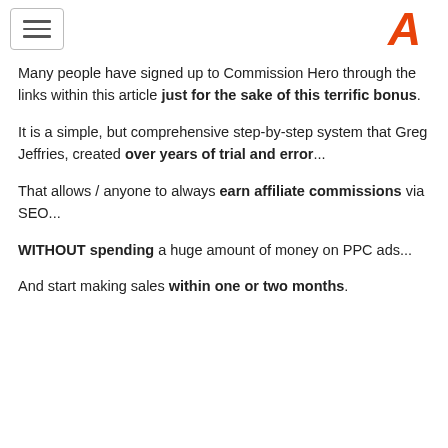[hamburger menu icon] [logo A]
Many people have signed up to Commission Hero through the links within this article just for the sake of this terrific bonus.
It is a simple, but comprehensive step-by-step system that Greg Jeffries, created over years of trial and error...
That allows / anyone to always earn affiliate commissions via SEO...
WITHOUT spending a huge amount of money on PPC ads...
And start making sales within one or two months.